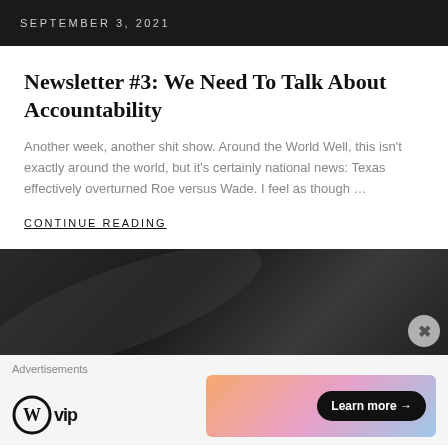SEPTEMBER 3, 2021
Newsletter #3: We Need To Talk About Accountability
Another week, another shit show. Around the World Well, this isn't exactly around the world, but it's certainly national news: Texas effectively overturned Roe versus Wade. I feel as though …
CONTINUE READING
[Figure (photo): Dark textured background image, dark grey/black tones with diagonal texture]
Advertisements
[Figure (logo): WordPress VIP logo with circular W icon and 'vip' text]
[Figure (infographic): Advertisement banner with pastel gradient background and 'Learn more →' button]